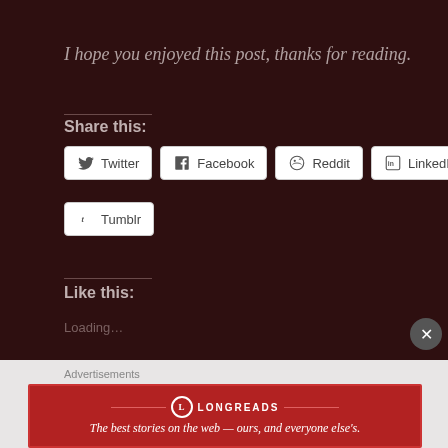I hope you enjoyed this post, thanks for reading.
Share this:
[Figure (screenshot): Social sharing buttons: Twitter, Facebook, Reddit, LinkedIn, Tumblr]
Like this:
Loading...
Advertisements
[Figure (infographic): Longreads advertisement banner: The best stories on the web - ours, and everyone else's.]